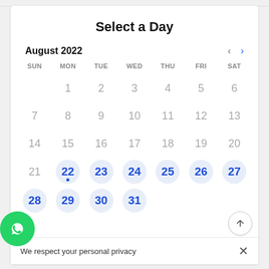Select a Day
August 2022
[Figure (other): Calendar widget showing August 2022. Days 22–27 and 28–31 are highlighted with blue circles. Day 22 has a dot beneath it.]
We respect your personal privacy